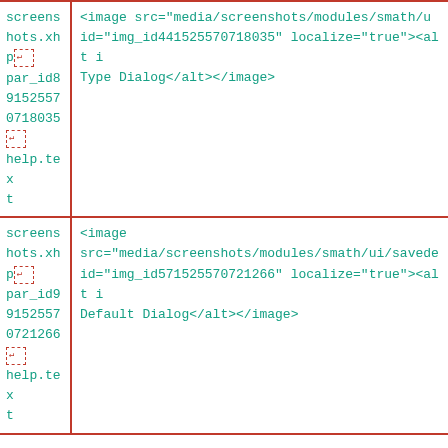| left | right |
| --- | --- |
| screens
hots.xh
p↵
par_id8
9152557
0718035
↵
help.tex
t | <image src="media/screenshots/modules/smath/u... id="img_id441525570718035" localize="true"><alt i Type Dialog</alt></antml:image> |
| screens
hots.xh
p↵
par_id9
9152557
0721266
↵
help.tex
t | <image src="media/screenshots/modules/smath/ui/savede... id="img_id571525570721266" localize="true"><alt i Default Dialog</alt></antml:image> |